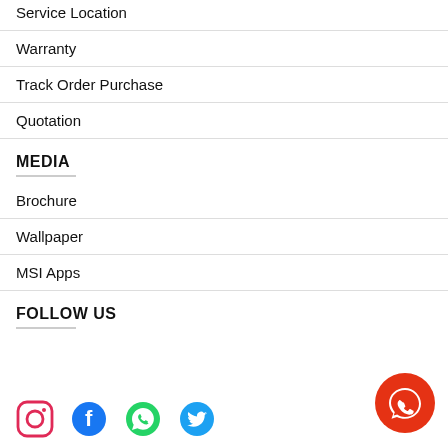Service Location
Warranty
Track Order Purchase
Quotation
MEDIA
Brochure
Wallpaper
MSI Apps
FOLLOW US
[Figure (illustration): Social media icons: Instagram (red), Facebook (blue), WhatsApp (green), Twitter (blue)]
[Figure (illustration): Orange circular chat/messenger button with speech bubble icon]